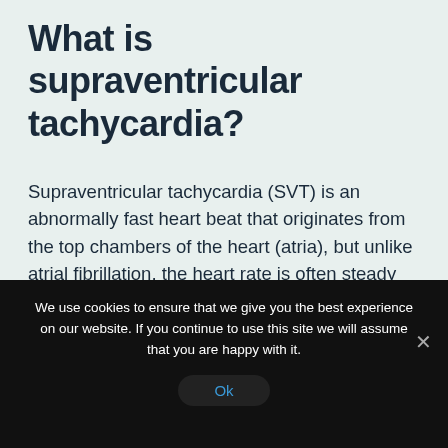What is supraventricular tachycardia?
Supraventricular tachycardia (SVT) is an abnormally fast heart beat that originates from the top chambers of the heart (atria), but unlike atrial fibrillation, the heart rate is often steady and regular. In most cases, episodes of SVT are usually harmless and will often self-terminate without the need for treatment. However, you should seek medical advice if you have prolonged episodes of SVT. The condition is usually harmless but does require careful assessment to determine the optimal management.
We use cookies to ensure that we give you the best experience on our website. If you continue to use this site we will assume that you are happy with it. Ok